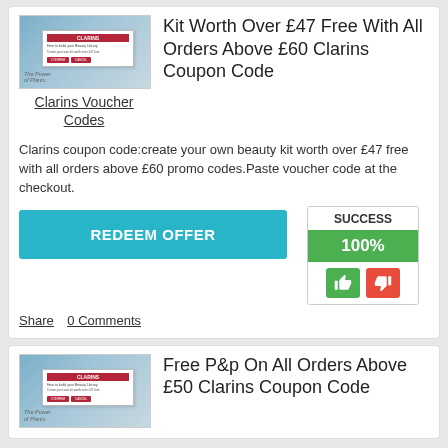[Figure (screenshot): Thumbnail screenshot of Clarins website with a popup overlay]
Kit Worth Over £47 Free With All Orders Above £60 Clarins Coupon Code
Clarins Voucher Codes
Clarins coupon code:create your own beauty kit worth over £47 free with all orders above £60 promo codes.Paste voucher code at the checkout.
REDEEM OFFER
SUCCESS
100%
Share   0 Comments
[Figure (screenshot): Thumbnail screenshot of Clarins website with a popup overlay]
Free P&p On All Orders Above £50 Clarins Coupon Code